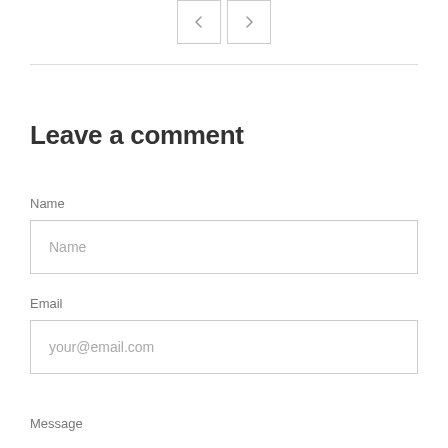[Figure (other): Navigation previous and next arrow buttons]
Leave a comment
Name
Name (input field placeholder)
Email
your@email.com (input field placeholder)
Message